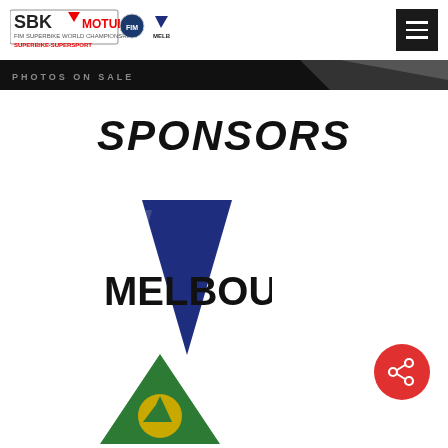[Figure (logo): SBK Motul FIM Superbike World Championship header logo with FIM and Melbourne logos]
[Figure (logo): Hamburger menu icon (dark square with three white lines)]
[Figure (infographic): Dark diagonal checkered banner strip]
SPONSORS
[Figure (logo): City of Melbourne logo - dark blue downward-pointing triangle with MELBOURNE text]
[Figure (logo): Red circular share button with share icon]
[Figure (logo): Parks Victoria logo - green triangle with yellow circle]